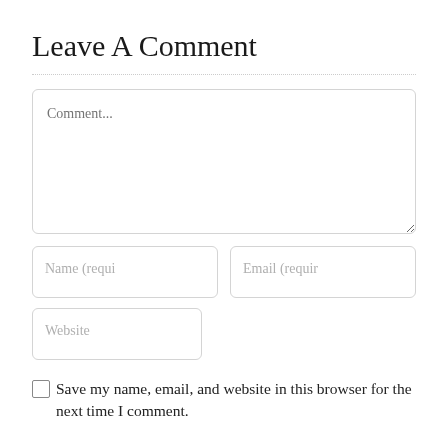Leave A Comment
[Figure (screenshot): Comment form with textarea placeholder 'Comment...', Name (required) input, Email (required) input, Website input, and a checkbox with label 'Save my name, email, and website in this browser for the next time I comment.']